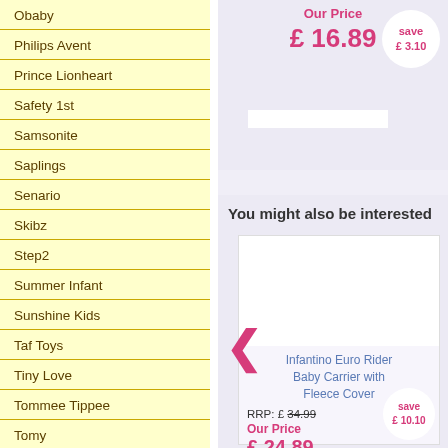Obaby
Philips Avent
Prince Lionheart
Safety 1st
Samsonite
Saplings
Senario
Skibz
Step2
Summer Infant
Sunshine Kids
Taf Toys
Tiny Love
Tommee Tippee
Tomy
VTech
Wilkinet
Our Price £ 16.89 save £ 3.10
You might also be interested
Infantino Euro Rider Baby Carrier with Fleece Cover
RRP: £ 34.99
Our Price £ 24.89 save £ 10.10